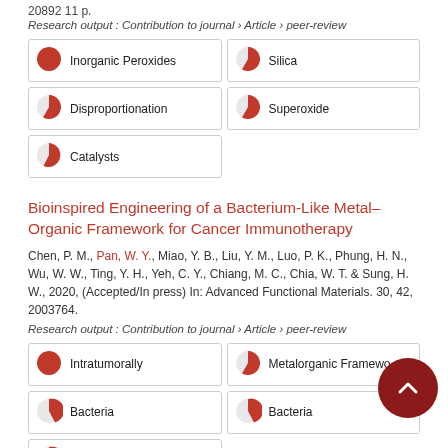20892 11 p.
Research output: Contribution to journal › Article › peer-review
| Keyword | Keyword |
| --- | --- |
| Inorganic Peroxides | Silica |
| Disproportionation | Superoxide |
| Catalysts |  |
Bioinspired Engineering of a Bacterium-Like Metal–Organic Framework for Cancer Immunotherapy
Chen, P. M., Pan, W. Y., Miao, Y. B., Liu, Y. M., Luo, P. K., Phung, H. N., Wu, W. W., Ting, Y. H., Yeh, C. Y., Chiang, M. C., Chia, W. T. & Sung, H. W., 2020, (Accepted/In press) In: Advanced Functional Materials. 30, 42, 2003764.
Research output: Contribution to journal › Article › peer-review
| Keyword | Keyword |
| --- | --- |
| Intratumorally | Metalorganic Frameworks |
| Bacteria | Bacteria |
| Tumors |  |